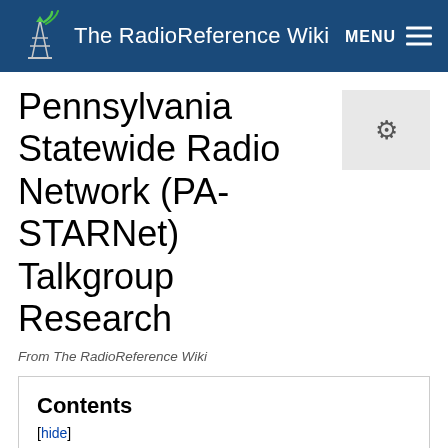The RadioReference Wiki
Pennsylvania Statewide Radio Network (PA-STARNet) Talkgroup Research
From The RadioReference Wiki
Contents
1 Misc/Unidentified 1-10000
2 PA State Police Common/Tactical 10001-10077
3 PA Global Command 10078-10089